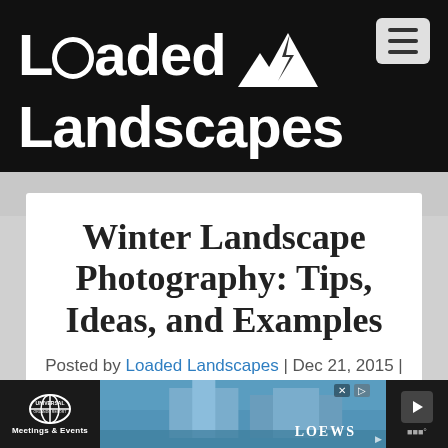[Figure (logo): Loaded Landscapes website logo — white bold text on black background with mountain/lightning icon, plus hamburger menu button]
Winter Landscape Photography: Tips, Ideas, and Examples
Posted by Loaded Landscapes | Dec 21, 2015 | Tips
[Figure (photo): Advertisement banner: Universal Orlando Resort Meetings & Events ad with hotel/waterway image and Loews branding, plus media player controls]